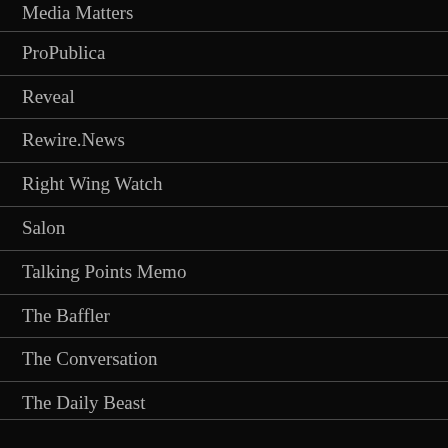Media Matters
ProPublica
Reveal
Rewire.News
Right Wing Watch
Salon
Talking Points Memo
The Baffler
The Conversation
The Daily Beast